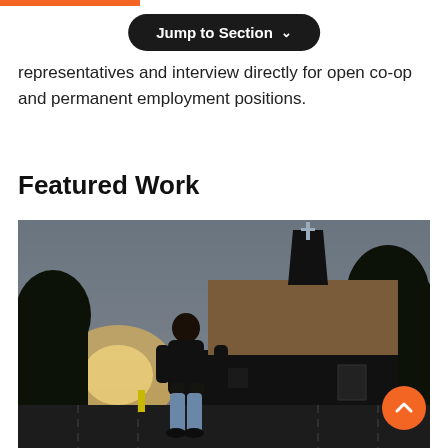representatives and interview directly for open co-op and permanent employment positions.
Featured Work
[Figure (photo): A man standing in a parking lot at dusk in front of a church building with a triangular steeple, trees in the background, with warm sunset light behind him. He is wearing a black sweater and light blue jeans.]